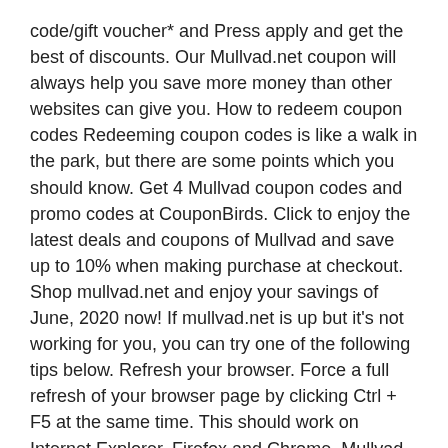code/gift voucher* and Press apply and get the best of discounts. Our Mullvad.net coupon will always help you save more money than other websites can give you. How to redeem coupon codes Redeeming coupon codes is like a walk in the park, but there are some points which you should know. Get 4 Mullvad coupon codes and promo codes at CouponBirds. Click to enjoy the latest deals and coupons of Mullvad and save up to 10% when making purchase at checkout. Shop mullvad.net and enjoy your savings of June, 2020 now! If mullvad.net is up but it's not working for you, you can try one of the following tips below. Refresh your browser. Force a full refresh of your browser page by clicking Ctrl + F5 at the same time. This should work on Internet Explorer, Firefox and Chrome. Mullvad VPN, Gothenburg. 973 likes · 26 talking about this. World-class, online privacy! Mullvad is a VPN service that helps keep your online activity, identity, and location private.
soho vpn solutions